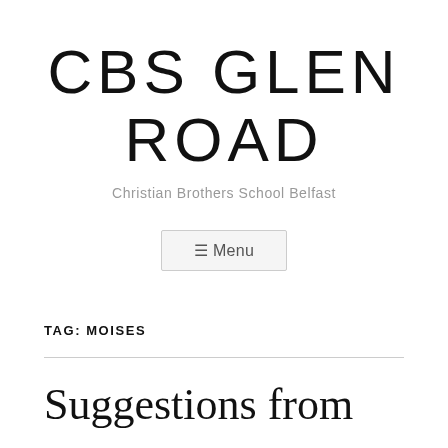CBS GLEN ROAD
Christian Brothers School Belfast
☰ Menu
TAG: MOISES
Suggestions from your